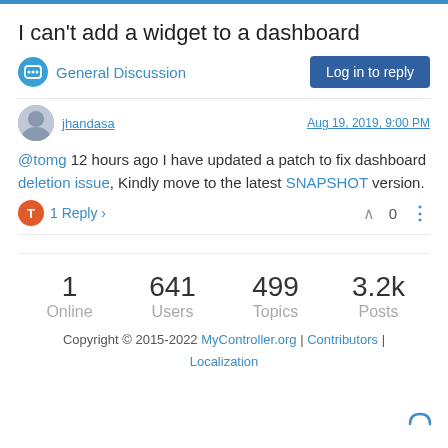I can't add a widget to a dashboard
General Discussion
Log in to reply
jhandasa   Aug 19, 2019, 9:00 PM
@tomg 12 hours ago I have updated a patch to fix dashboard deletion issue, Kindly move to the latest SNAPSHOT version.
1 Reply >   ^ 0
1 Online   641 Users   499 Topics   3.2k Posts
Copyright © 2015-2022 MyController.org | Contributors | Localization